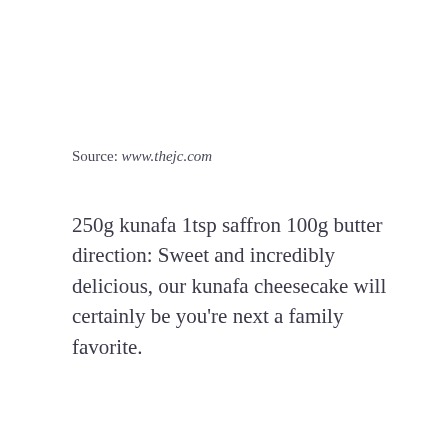Source: www.thejc.com
250g kunafa 1tsp saffron 100g butter direction: Sweet and incredibly delicious, our kunafa cheesecake will certainly be you're next a family favorite.